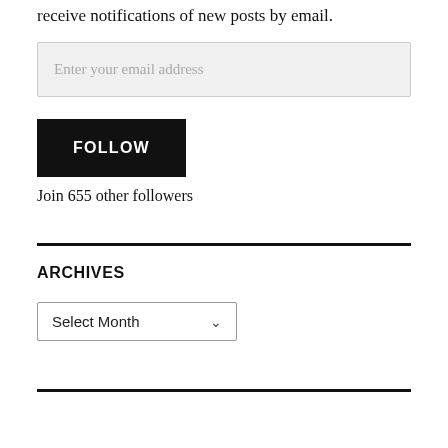receive notifications of new posts by email.
Enter your email address
FOLLOW
Join 655 other followers
ARCHIVES
Select Month